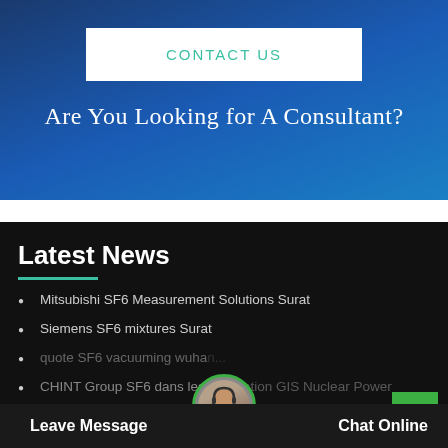CONTACT US
Are You Looking for A Consultant?
Latest News
Mitsubishi SF6 Measurement Solutions Surat
Siemens SF6 mixtures Surat
quote SF6 vacuuming wuha...
CHINT Group SF6 dans les installation GIS Nuclear Power
Leave Message
Chat Online